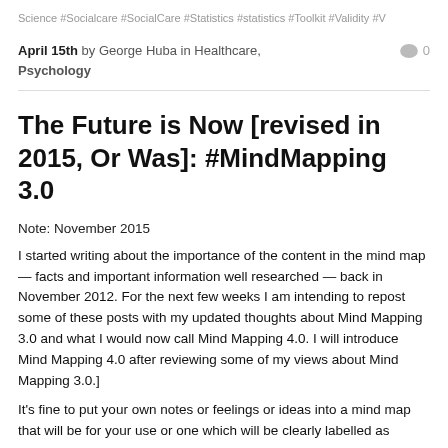Science #Socialcare #SocialCare #Statistics #statistics #Toolkit #Validity #V
April 15th by George Huba in Healthcare, Psychology  0
The Future is Now [revised in 2015, Or Was]: #MindMapping 3.0
Note: November 2015
I started writing about the importance of the content in the mind map — facts and important information well researched — back in November 2012. For the next few weeks I am intending to repost some of these posts with my updated thoughts about Mind Mapping 3.0 and what I would now call Mind Mapping 4.0. I will introduce Mind Mapping 4.0 after reviewing some of my views about Mind Mapping 3.0.]
It's fine to put your own notes or feelings or ideas into a mind map that will be for your use or one which will be clearly labelled as